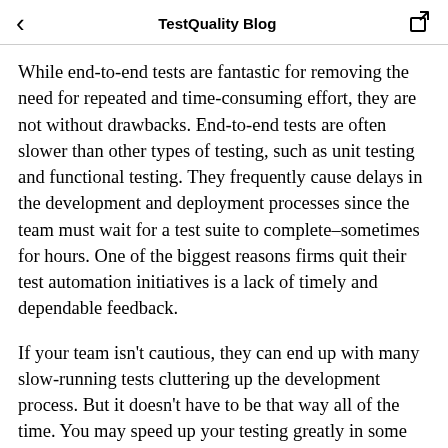TestQuality Blog
While end-to-end tests are fantastic for removing the need for repeated and time-consuming effort, they are not without drawbacks. End-to-end tests are often slower than other types of testing, such as unit testing and functional testing. They frequently cause delays in the development and deployment processes since the team must wait for a test suite to complete–sometimes for hours. One of the biggest reasons firms quit their test automation initiatives is a lack of timely and dependable feedback.
If your team isn't cautious, they can end up with many slow-running tests cluttering up the development process. But it doesn't have to be that way all of the time. You may speed up your testing greatly in some circumstances by taking a few simple measures. This post will go through five techniques to speed up your